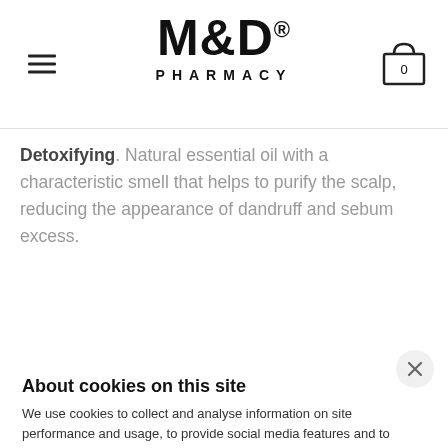M&D® PHARMACY
Detoxifying. Natural essential oil with a characteristic smell that helps to purify the scalp, reducing the appearance of dandruff and sebum excess.
About cookies on this site
We use cookies to collect and analyse information on site performance and usage, to provide social media features and to enhance and customise content and advertisements. Learn more
Cookie settings
Deny all
Allow all cookies